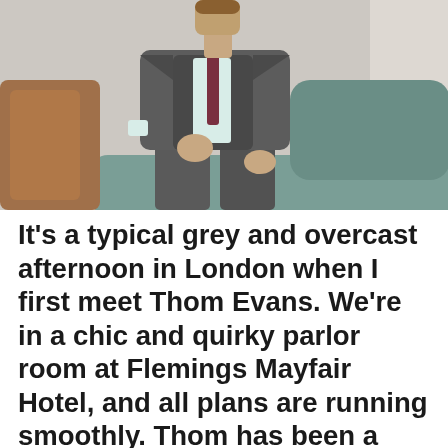[Figure (photo): A man wearing a grey three-piece suit with a dark burgundy tie, sitting on a teal/green velvet sofa. A brown coat is draped on the left side. The man's face is not visible (cropped at neck). Shot in a stylish interior setting.]
It's a typical grey and overcast afternoon in London when I first meet Thom Evans. We're in a chic and quirky parlor room at Flemings Mayfair Hotel, and all plans are running smoothly. Thom has been a busy man lately. The rugby-player-turned-model has found much success in the fashion industry.